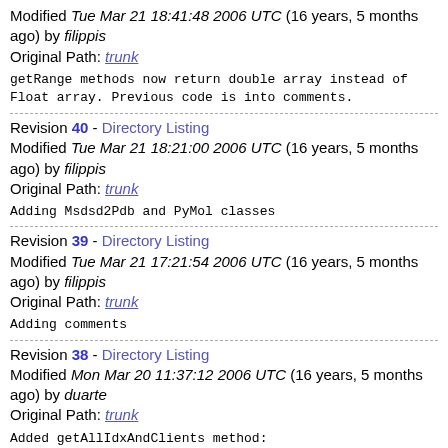Modified Tue Mar 21 18:41:48 2006 UTC (16 years, 5 months ago) by filippis
Original Path: trunk
getRange methods now return double array instead of Float array. Previous code is into comments.
Revision 40 - Directory Listing
Modified Tue Mar 21 18:21:00 2006 UTC (16 years, 5 months ago) by filippis
Original Path: trunk
Adding Msdsd2Pdb and PyMol classes
Revision 39 - Directory Listing
Modified Tue Mar 21 17:21:54 2006 UTC (16 years, 5 months ago) by filippis
Original Path: trunk
Adding comments
Revision 38 - Directory Listing
Modified Mon Mar 20 11:37:12 2006 UTC (16 years, 5 months ago) by duarte
Original Path: trunk
Added getAllIdxAndClients method:
gets all ids and client names for a certain key.